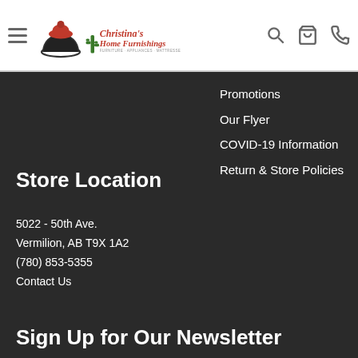Christina's Home Furnishings — Furniture · Appliances · Mattresses
Promotions
Our Flyer
COVID-19 Information
Return & Store Policies
Store Location
5022 - 50th Ave.
Vermilion, AB T9X 1A2
(780) 853-5355
Contact Us
Sign Up for Our Newsletter